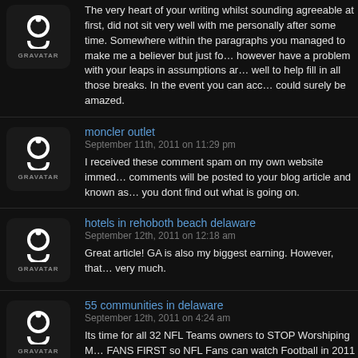The very heart of your writing whilst sounding agreeable at first, did not sit very well with me personally after some time. Somewhere within the paragraphs you managed to make me a believer but just for a while. I however have a problem with your leaps in assumptions and you might do well to help fill in all those breaks. In the event you can accomplish that, could surely be amazed.
moncler outlet
September 11th, 2011 on 11:29 pm
I received these comment spam on my own website immediately, these comments will be posted to your blog article and known as your own if you dont find out what is going on.
hotels in rehoboth beach delaware
September 12th, 2011 on 12:18 am
Great article! GA is also my biggest earning. However, that very much.
55 communities in delaware
September 12th, 2011 on 4:24 am
Its time for all 32 NFL Teams owners to STOP Worshiping FANS FIRST so NFL Fans can watch Football in 2011 CBA